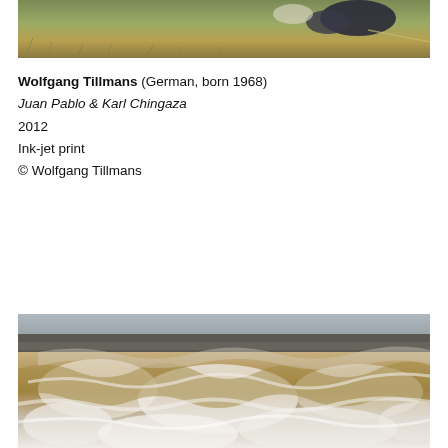[Figure (photo): Partial photograph showing two people lying on grassy hillside terrain, one wearing a dark jacket]
Wolfgang Tillmans (German, born 1968)
Juan Pablo & Karl Chingaza
2012
Ink-jet print
© Wolfgang Tillmans
[Figure (photo): Photograph of turbulent rushing water/waterfall with brown and white churning water]